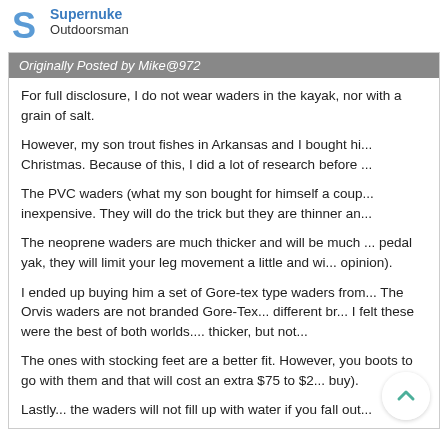Supernuke
Outdoorsman
Originally Posted by Mike@972
For full disclosure, I do not wear waders in the kayak, nor with a grain of salt.

However, my son trout fishes in Arkansas and I bought hi... Christmas. Because of this, I did a lot of research before ...

The PVC waders (what my son bought for himself a coup... inexpensive. They will do the trick but they are thinner an...

The neoprene waders are much thicker and will be much ... pedal yak, they will limit your leg movement a little and wi... opinion).

I ended up buying him a set of Gore-tex type waders from... The Orvis waders are not branded Gore-Tex... different br... I felt these were the best of both worlds.... thicker, but not...

The ones with stocking feet are a better fit. However, you boots to go with them and that will cost an extra $75 to $2... buy).

Lastly... the waders will not fill up with water if you fall out...